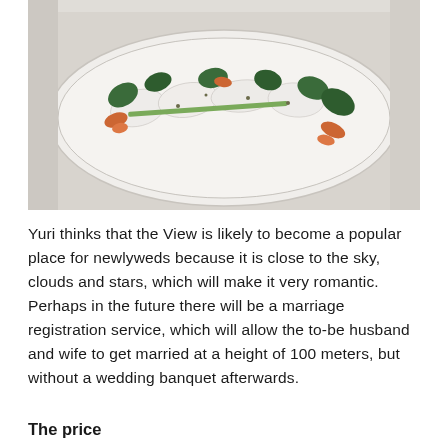[Figure (photo): An elegant white oval serving plate with a fine-dining dish featuring white fish or mozzarella pieces, fresh spinach leaves, small pieces of orange seafood (likely shrimp or crayfish), and herbs, presented on a light grey table surface.]
Yuri thinks that the View is likely to become a popular place for newlyweds because it is close to the sky, clouds and stars, which will make it very romantic. Perhaps in the future there will be a marriage registration service, which will allow the to-be husband and wife to get married at a height of 100 meters, but without a wedding banquet afterwards.
The price